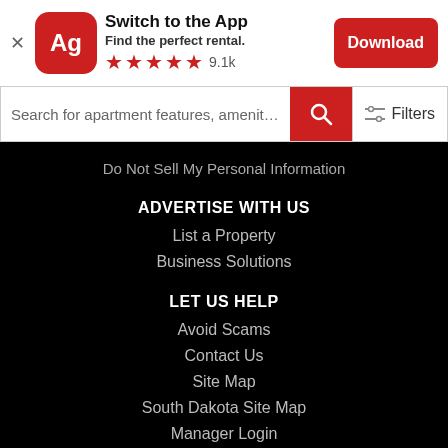[Figure (screenshot): App promotion banner with Ag logo icon, Switch to the App text, Find the perfect rental subtitle, star rating 9.1k, and red Download button]
Search for apartment features, amenities, etc
Do Not Sell My Personal Information
ADVERTISE WITH US
List a Property
Business Solutions
LET US HELP
Avoid Scams
Contact Us
Site Map
South Dakota Site Map
Manager Login
Accessibility